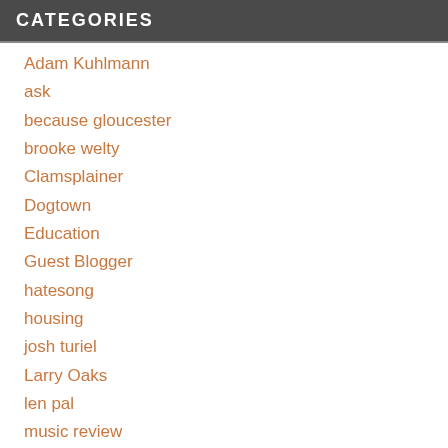CATEGORIES
Adam Kuhlmann
ask
because gloucester
brooke welty
Clamsplainer
Dogtown
Education
Guest Blogger
hatesong
housing
josh turiel
Larry Oaks
len pal
music review